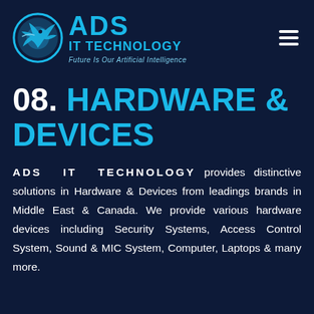[Figure (logo): ADS IT Technology logo with circular icon of a bird/fish in blue and text 'ADS IT TECHNOLOGY, Future Is Our Artificial Intelligence']
08. HARDWARE & DEVICES
ADS IT TECHNOLOGY provides distinctive solutions in Hardware & Devices from leadings brands in Middle East & Canada. We provide various hardware devices including Security Systems, Access Control System, Sound & MIC System, Computer, Laptops & many more.